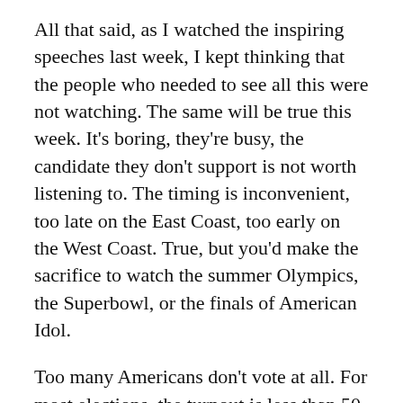All that said, as I watched the inspiring speeches last week, I kept thinking that the people who needed to see all this were not watching. The same will be true this week. It's boring, they're busy, the candidate they don't support is not worth listening to. The timing is inconvenient, too late on the East Coast, too early on the West Coast. True, but you'd make the sacrifice to watch the summer Olympics, the Superbowl, or the finals of American Idol.
Too many Americans don't vote at all. For most elections, the turnout is less than 50 percent. It goes up to about 60 percent for presidential elections. Why isn't it closer to 100 percent? Of those do vote, too many people will vote based